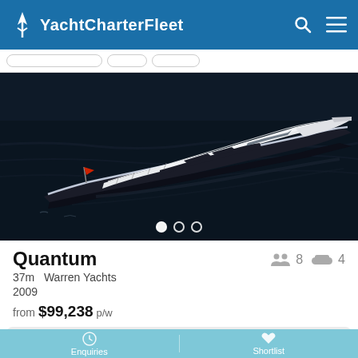YachtCharterFleet
[Figure (photo): Aerial view of the Quantum yacht, a sleek 37m motor yacht with white superstructure and dark hull, photographed from above on dark blue water]
Quantum
37m   Warren Yachts
2009
from $99,238 p/w
Enquiries   Shortlist